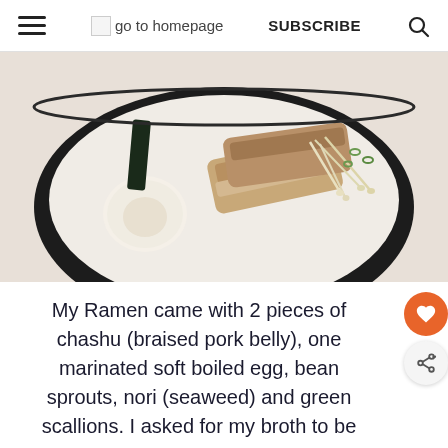☰ go to homepage   SUBSCRIBE   🔍
[Figure (photo): A bowl of ramen with milky white tonkotsu broth, two pieces of chashu braised pork belly, a soft boiled egg, bean sprouts, nori seaweed, and green scallions, served in a dark bowl on a white surface.]
My Ramen came with 2 pieces of chashu (braised pork belly), one marinated soft boiled egg, bean sprouts, nori (seaweed) and green scallions. I asked for my broth to be